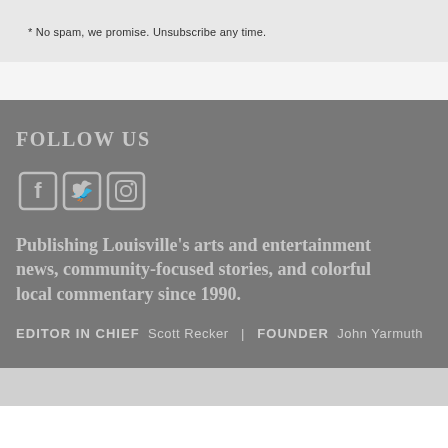* No spam, we promise. Unsubscribe any time.
FOLLOW US
[Figure (illustration): Social media icons: Facebook, Twitter, Instagram]
Publishing Louisville's arts and entertainment news, community-focused stories, and colorful local commentary since 1990.
EDITOR IN CHIEF  Scott Recker  |  FOUNDER  John Yarmuth